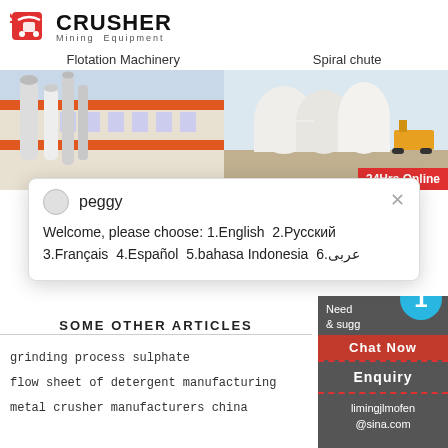[Figure (logo): CRUSHER Mining Equipment logo with red cart icon]
Flotation Machinery
Spiral chute
[Figure (photo): Industrial building with orange and white ventilation pipes]
[Figure (photo): White industrial silos/tanks with construction equipment, 24Hrs Online badge]
peggy
Welcome, please choose: 1.English  2.Русский  3.Français  4.Español  5.bahasa Indonesia  6.عربی
SOME OTHER ARTICLES
grinding process sulphate
flow sheet of detergent manufacturing
metal crusher manufacturers china
Need & suggestions
Chat Now
Enquiry
limingjlmofen@sina.com